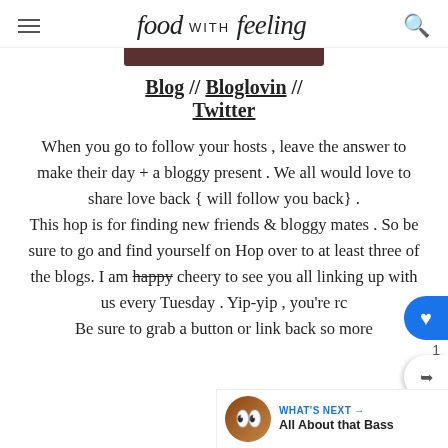food with feeling
[Figure (photo): Dark cropped image strip at top center, partial photo]
Blog // Bloglovin // Twitter
When you go to follow your hosts , leave the answer to make their day + a bloggy present . We all would love to share love back { will follow you back} . This hop is for finding new friends & bloggy mates . So be sure to go and find yourself on Hop over to at least three of the blogs. I am happy cheery to see you all linking up with us every Tuesday . Yip-yip , you're rc Be sure to grab a button or link back so more